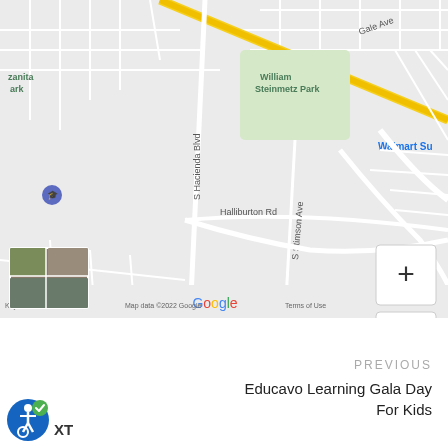[Figure (map): Google Maps screenshot showing Hacienda Heights area in California. Visible landmarks include William Steinmetz Park, Glen A. Wilson High School, Walmart Supercenter, Halliburton Rd, S Stimson Ave, S Hacienda Blvd, Gale Ave, and a yellow highway running diagonally. Zoom controls (+/-) visible on right side. Google logo and map attribution visible at bottom.]
PREVIOUS
Educavo Learning Gala Day For Kids
[Figure (logo): Accessibility icon (wheelchair symbol with blue circle and checkmark)]
XT